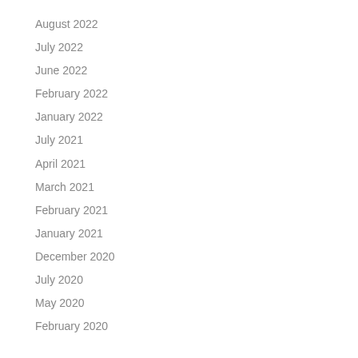August 2022
July 2022
June 2022
February 2022
January 2022
July 2021
April 2021
March 2021
February 2021
January 2021
December 2020
July 2020
May 2020
February 2020